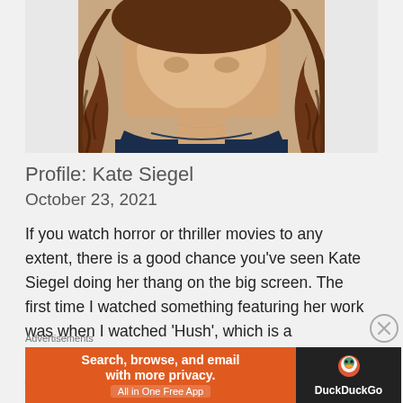[Figure (photo): Cropped photo of Kate Siegel, a woman with long brown wavy hair, wearing a dark navy top, photographed from shoulders up against a light background.]
Profile: Kate Siegel
October 23, 2021
If you watch horror or thriller movies to any extent, there is a good chance you've seen Kate Siegel doing her thang on the big screen. The first time I watched something featuring her work was when I watched 'Hush', which is a
Advertisements
[Figure (screenshot): DuckDuckGo advertisement banner: orange left section reading 'Search, browse, and email with more privacy. All in One Free App', dark right section with DuckDuckGo duck logo and brand name.]